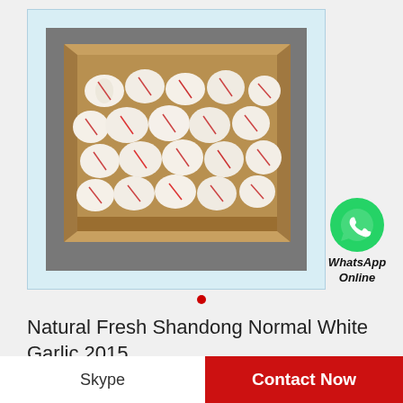[Figure (photo): A cardboard box filled with white garlic bulbs wrapped in paper with red markings, viewed from above. The box is on a grey surface.]
[Figure (logo): WhatsApp green circle icon with white phone handset logo, labeled 'WhatsApp Online']
Natural Fresh Shandong Normal White Garlic 2015
Skype
Contact Now